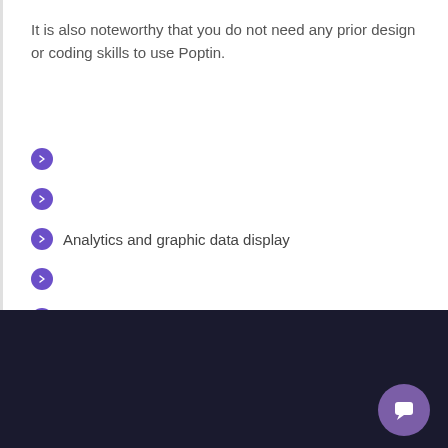It is also noteworthy that you do not need any prior design or coding skills to use Poptin.
Analytics and graphic data display
[Figure (screenshot): Dark footer section with small text, a horizontal line, a blue pill-shaped button on the left, and a purple chat bubble button on the bottom right]